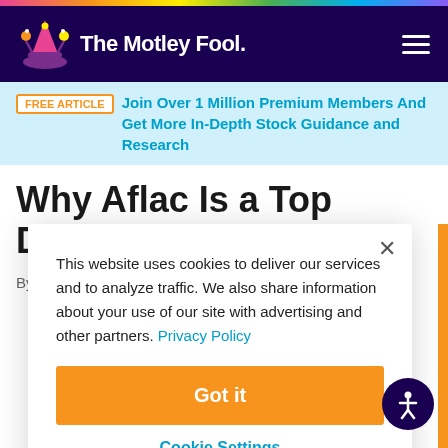The Motley Fool
FREE ARTICLE  Join Over 1 Million Premium Members And Get More In-Depth Stock Guidance and Research
Why Aflac Is a Top Dividend Stock
By Dan Caplinger - Apr 3, 2013 at 3:43PM
This website uses cookies to deliver our services and to analyze traffic. We also share information about your use of our site with advertising and other partners. Privacy Policy
Got it
Cookie Settings